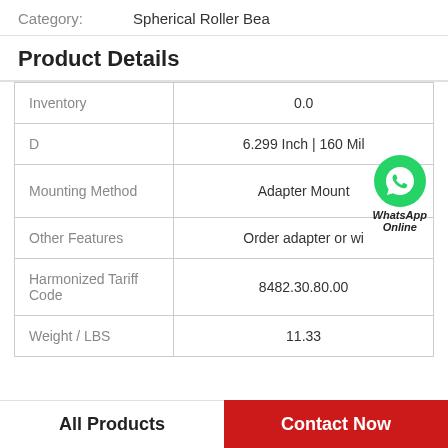Category: Spherical Roller Bea
Product Details
|  |  |
| --- | --- |
| Inventory | 0.0 |
| D | 6.299 Inch | 160 Mil |
| Mounting Method | Adapter Mount |
| Other Features | Order adapter or wi |
| Harmonized Tariff Code | 8482.30.80.00 |
| Weight / LBS | 11.33 |
[Figure (logo): WhatsApp Online logo with green phone icon and text 'WhatsApp Online']
All Products    Contact Now